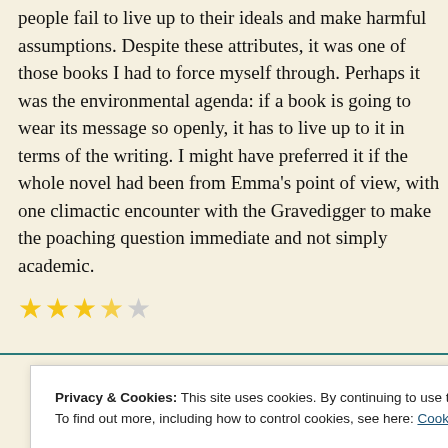people fail to live up to their ideals and make harmful assumptions. Despite these attributes, it was one of those books I had to force myself through. Perhaps it was the environmental agenda: if a book is going to wear its message so openly, it has to live up to it in terms of the writing. I might have preferred it if the whole novel had been from Emma's point of view, with one climactic encounter with the Gravedigger to make the poaching question immediate and not simply academic.
[Figure (other): Star rating: 3.5 out of 5 stars (3 full yellow stars, 1 half yellow star, 1 empty/grey star)]
Privacy & Cookies: This site uses cookies. By continuing to use this website, you agree to their use.
To find out more, including how to control cookies, see here: Cookie Policy
Close and accept